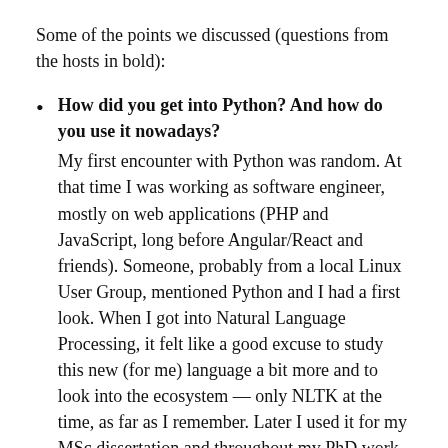Some of the points we discussed (questions from the hosts in bold):
How did you get into Python? And how do you use it nowadays?
My first encounter with Python was random. At that time I was working as software engineer, mostly on web applications (PHP and JavaScript, long before Angular/React and friends). Someone, probably from a local Linux User Group, mentioned Python and I had a first look. When I got into Natural Language Processing, it felt like a good excuse to study this new (for me) language a bit more and to look into the ecosystem — only NLTK at the time, as far as I remember. Later I used it for my MSc dissertation and throughout my PhD work. In the meanwhile the Python ecosystem for Data Science became more and more robust, and it became my first weapon of